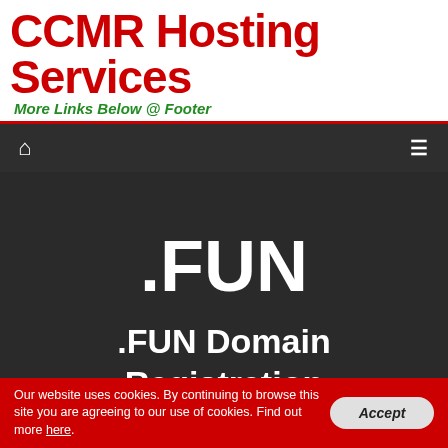CCMR Hosting Services
More Links Below @ Footer
[Figure (screenshot): Navigation bar with home icon and hamburger menu on dark background]
.FUN
.FUN Domain Registration
Our website uses cookies. By continuing to browse this site you are agreeing to our use of cookies. Find out more here.